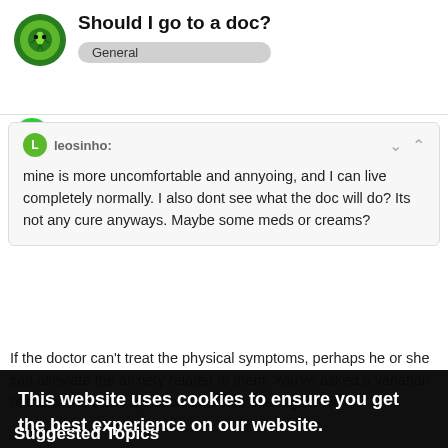Should I go to a doc? General
leosinho: mine is more uncomfortable and annyoing, and I can live completely normally. I also dont see what the doc will do? Its not any cure anyways. Maybe some meds or creams?
If the doctor can't treat the physical symptoms, perhaps he or she can alleviate the anxiety related to them. You've asked a variation of this same basic question over and over again for [obscured] that's [obscured] please talk to a [obscured] regarding this.
This website uses cookies to ensure you get the best experience on our website. Learn more
Got it!
Suggested Topics